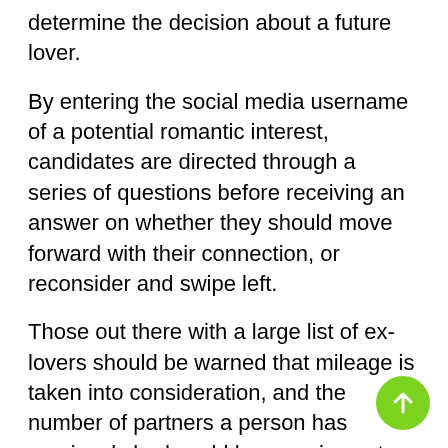determine the decision about a future lover.
By entering the social media username of a potential romantic interest, candidates are directed through a series of questions before receiving an answer on whether they should move forward with their connection, or reconsider and swipe left.
Those out there with a large list of ex-lovers should be warned that mileage is taken into consideration, and the number of partners a person has previously had could have an impact on whether an A+ is awarded.
The tool doesn't however just focus on an individual's background. It also identifies potential threats with the maintenance levels of a person. ‘Fleeky’ well-groomed eyebrows and a full face of make-up might look appealing on the exterior, but could result in a fail on the test.
Modifications can also have an impact on whether a pass is